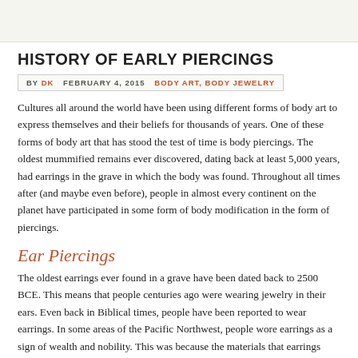HISTORY OF EARLY PIERCINGS
BY DK   FEBRUARY 4, 2015   BODY ART, BODY JEWELRY
Cultures all around the world have been using different forms of body art to express themselves and their beliefs for thousands of years. One of these forms of body art that has stood the test of time is body piercings. The oldest mummified remains ever discovered, dating back at least 5,000 years, had earrings in the grave in which the body was found. Throughout all times after (and maybe even before), people in almost every continent on the planet have participated in some form of body modification in the form of piercings.
Ear Piercings
The oldest earrings ever found in a grave have been dated back to 2500 BCE. This means that people centuries ago were wearing jewelry in their ears. Even back in Biblical times, people have been reported to wear earrings. In some areas of the Pacific Northwest, people wore earrings as a sign of wealth and nobility. This was because the materials that earrings were made of were very valuable at this time. Sailors in the Middle Ages believed that if they pierced one of their ears, their long-distance vision